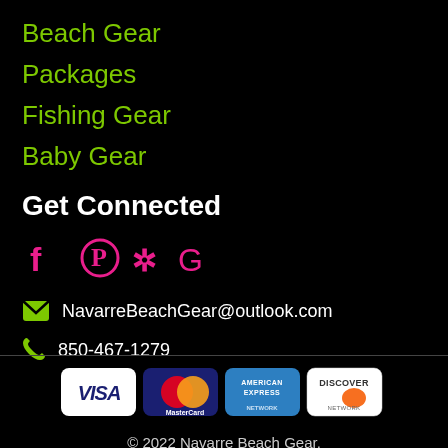Beach Gear
Packages
Fishing Gear
Baby Gear
Get Connected
[Figure (other): Social media icons: Facebook (f), Pinterest, Yelp, Google (G)]
NavarreBeachGear@outlook.com
850-467-1279
[Figure (other): Payment card logos: VISA, MasterCard, American Express, Discover]
© 2022 Navarre Beach Gear.